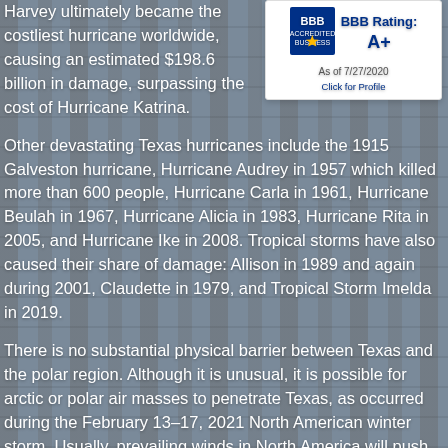Harvey ultimately became the costliest hurricane worldwide, causing an estimated $198.6 billion in damage, surpassing the cost of Hurricane Katrina.
[Figure (logo): BBB Accredited Business logo with BBB Rating A+ as of 7/27/2020, Click for Profile]
Other devastating Texas hurricanes include the 1915 Galveston hurricane, Hurricane Audrey in 1957 which killed more than 600 people, Hurricane Carla in 1961, Hurricane Beulah in 1967, Hurricane Alicia in 1983, Hurricane Rita in 2005, and Hurricane Ike in 2008. Tropical storms have also caused their share of damage: Allison in 1989 and again during 2001, Claudette in 1979, and Tropical Storm Imelda in 2019.
There is no substantial physical barrier between Texas and the polar region. Although it is unusual, it is possible for arctic or polar air masses to penetrate Texas, as occurred during the February 13–17, 2021 North American winter storm. Usually, prevailing winds in North America will push polar air masses to the southeast before they reach Texas. Because such